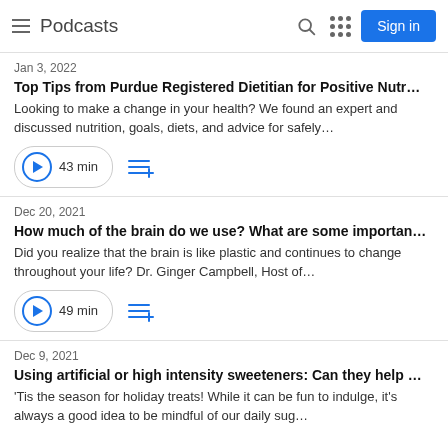Podcasts
Jan 3, 2022
Top Tips from Purdue Registered Dietitian for Positive Nutr…
Looking to make a change in your health? We found an expert and discussed nutrition, goals, diets, and advice for safely…
43 min
Dec 20, 2021
How much of the brain do we use? What are some importan…
Did you realize that the brain is like plastic and continues to change throughout your life? Dr. Ginger Campbell, Host of…
49 min
Dec 9, 2021
Using artificial or high intensity sweeteners: Can they help …
'Tis the season for holiday treats! While it can be fun to indulge, it's always a good idea to be mindful of our daily sug…